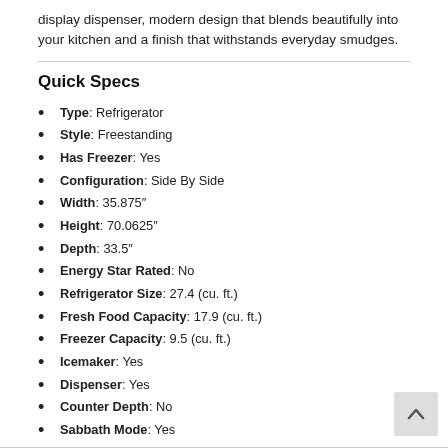display dispenser, modern design that blends beautifully into your kitchen and a finish that withstands everyday smudges.
Quick Specs
Type: Refrigerator
Style: Freestanding
Has Freezer: Yes
Configuration: Side By Side
Width: 35.875"
Height: 70.0625"
Depth: 33.5"
Energy Star Rated: No
Refrigerator Size: 27.4 (cu. ft.)
Fresh Food Capacity: 17.9 (cu. ft.)
Freezer Capacity: 9.5 (cu. ft.)
Icemaker: Yes
Dispenser: Yes
Counter Depth: No
Sabbath Mode: Yes
WiFi Connected: No
See More